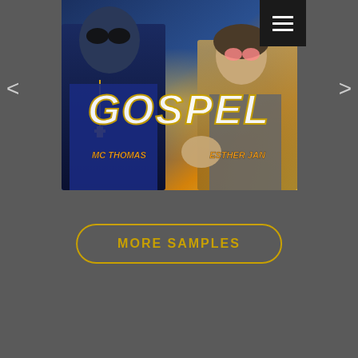[Figure (photo): Album cover for 'Gospel' by MC Thomas and Esther Jan. Two people shown: a man in a navy shirt wearing sunglasses and a gold cross necklace on the left, and a woman in a gray t-shirt with pink sunglasses on the right. Large gold/white stylized text reads 'GOSPEL' and below in orange text 'MC THOMAS' and 'ESTHER JAN'.]
[Figure (other): Hamburger menu button (three horizontal white lines on black background) in upper right corner]
[Figure (other): Left navigation arrow chevron '<' for carousel]
[Figure (other): Right navigation arrow chevron '>' for carousel]
MORE SAMPLES